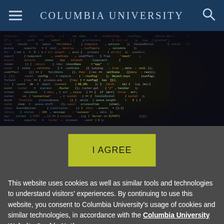Columbia University
[Figure (photo): Close-up photo of a computer monitor displaying colorful code/programming text, blurred at edges]
I AGREE
This website uses cookies as well as similar tools and technologies to understand visitors' experiences. By continuing to use this website, you consent to Columbia University's usage of cookies and similar technologies, in accordance with the Columbia University Website Cookie Notice.